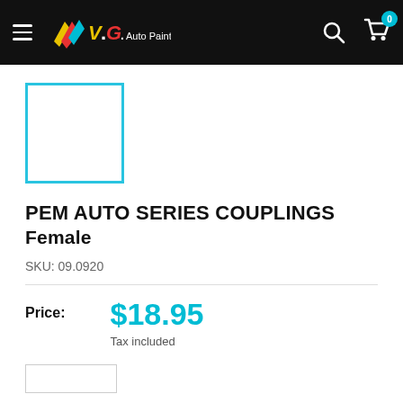V.G. Auto Paints — navigation header with hamburger menu, logo, search icon, cart icon with badge 0
[Figure (photo): Product image placeholder: white box outlined in cyan/teal border]
PEM AUTO SERIES COUPLINGS Female
SKU: 09.0920
Price: $18.95 Tax included